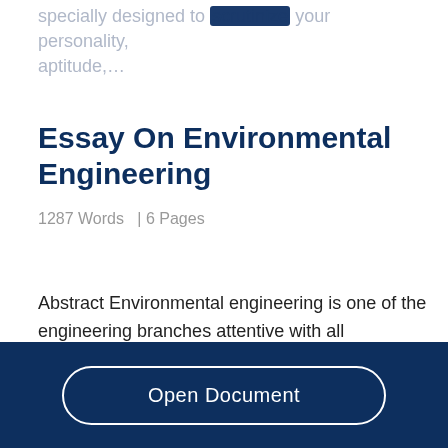specially designed to scrutinize your personality, aptitude,…
Essay On Environmental Engineering
1287 Words  | 6 Pages
Abstract Environmental engineering is one of the engineering branches attentive with all applications of scientific and engineering principles. Also, it is
Open Document